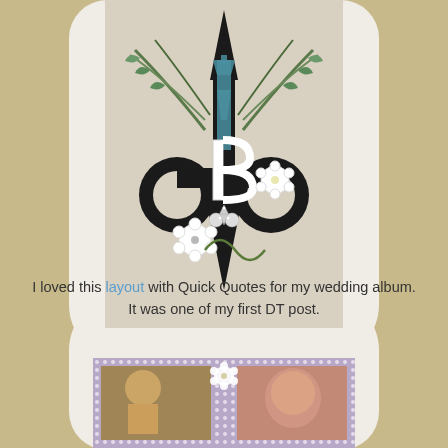[Figure (photo): Decorative craft piece: large black fleur-de-lis shape with letter B, decorated with peacock feathers, white flowers, and a rhinestone fleur-de-lis brooch. Background is light gray/beige with white stitched card frame.]
I loved this layout with Quick Quotes for my wedding album. It was one of my first DT post.
[Figure (photo): Wedding scrapbook layout with two photos of people, decorated with lace-like purple/gray border and flower embellishments.]